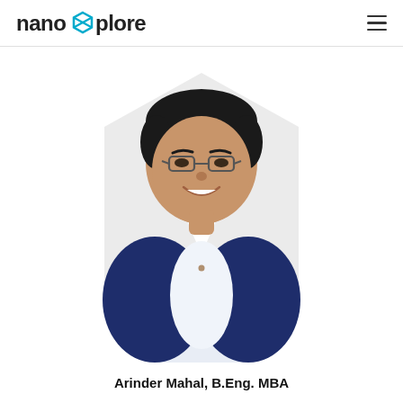NanoXplore
[Figure (photo): Professional headshot of Arinder Mahal on a light hexagonal background. He is wearing glasses, a white shirt and a navy blue blazer, smiling.]
Arinder Mahal, B.Eng. MBA